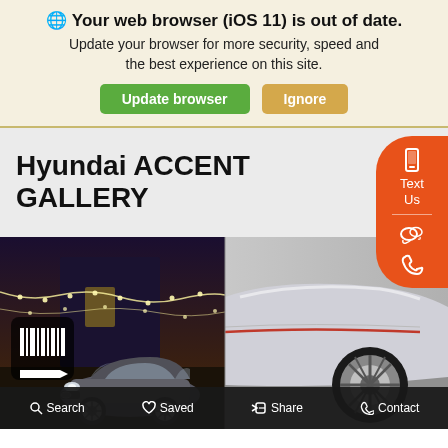🌐 Your web browser (iOS 11) is out of date. Update your browser for more security, speed and the best experience on this site.
Update browser | Ignore
Hyundai ACCENT GALLERY
[Figure (photo): Two photos of a Hyundai Accent: left shows the car in a nighttime urban setting with string lights, right shows a close-up of the silver car's body and wheel]
Search | Saved | Share | Contact